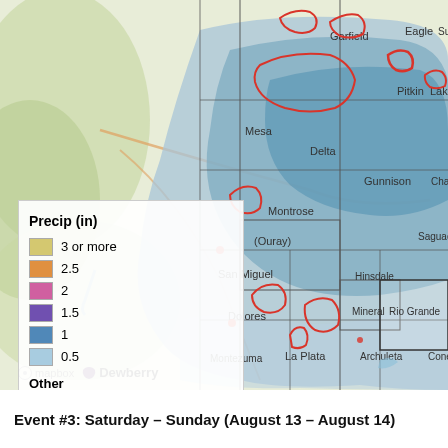[Figure (map): Precipitation map of western Colorado counties showing rainfall amounts in inches, with blue shading indicating precip levels from 0.5 to 3+ inches, and red outlines indicating burn areas. Counties labeled include Garfield, Eagle, Summit, Pitkin, Lake, Mesa, Delta, Gunnison, Chaffee, Montrose, Ouray, Saguache, San Miguel, Hinsdale, Mineral, Rio Grande, Dolores, La Plata, Archuleta, Conejos, Montezuma. Legend shows: 3 or more (yellow), 2.5 (orange), 2 (pink), 1.5 (purple), 1 (medium blue), 0.5 (light blue), and Burn Areas (red outline). Mapbox and Dewberry attribution at bottom.]
Event #3: Saturday – Sunday (August 13 – August 14)